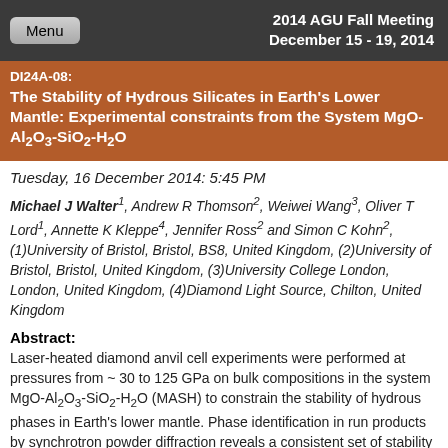2014 AGU Fall Meeting December 15 - 19, 2014
DI24A-08: The Stability of Hydrous Silicates in Earth's Lower Mantle: Experimental constraints from the System MgO-Al2O3-SiO2-H2O
Tuesday, 16 December 2014: 5:45 PM
Michael J Walter1, Andrew R Thomson2, Weiwei Wang3, Oliver T Lord1, Annette K Kleppe4, Jennifer Ross2 and Simon C Kohn2, (1)University of Bristol, Bristol, BS8, United Kingdom, (2)University of Bristol, Bristol, United Kingdom, (3)University College London, London, United Kingdom, (4)Diamond Light Source, Chilton, United Kingdom
Abstract:
Laser-heated diamond anvil cell experiments were performed at pressures from ~ 30 to 125 GPa on bulk compositions in the system MgO-Al2O3-SiO2-H2O (MASH) to constrain the stability of hydrous phases in Earth's lower mantle. Phase identification in run products by synchrotron powder diffraction reveals a consistent set of stability